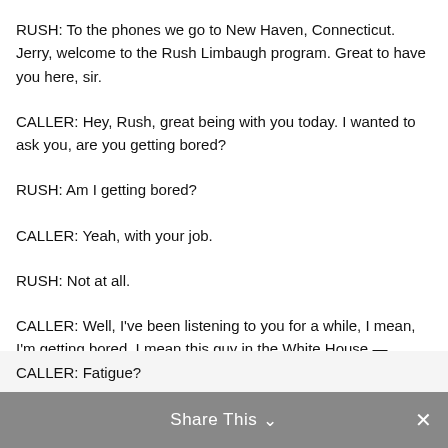RUSH: To the phones we go to New Haven, Connecticut. Jerry, welcome to the Rush Limbaugh program. Great to have you here, sir.
CALLER: Hey, Rush, great being with you today. I wanted to ask you, are you getting bored?
RUSH: Am I getting bored?
CALLER: Yeah, with your job.
RUSH: Not at all.
CALLER: Well, I've been listening to you for a while, I mean, I'm getting bored. I mean this guy in the White House —
RUSH: I don't think you're getting bored.
Share This ∨  ✕
CALLER: Fatigue?